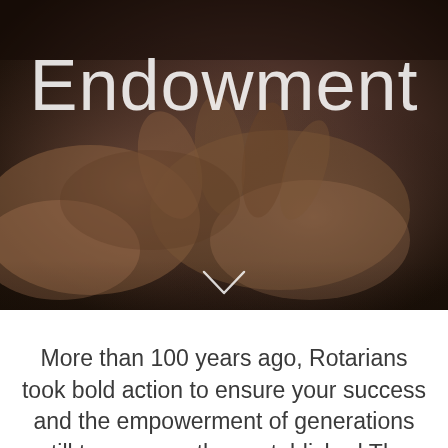[Figure (photo): Dark background photograph of hands clasped together, with the word 'Endowment' overlaid in large light-colored text, and a white chevron/down-arrow symbol below the title.]
More than 100 years ago, Rotarians took bold action to ensure your success and the empowerment of generations still to come — they established The Rotary Foundation to secure a better future.